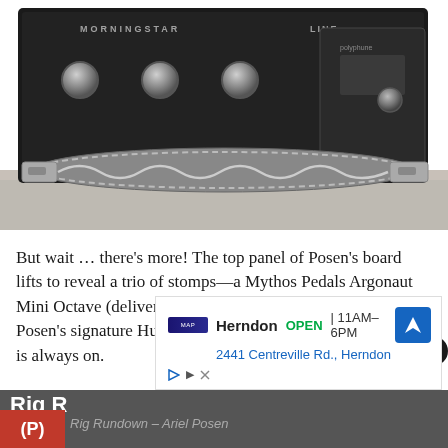[Figure (photo): Close-up photo of guitar effect pedal board with stomp switches and coiled cable/spring latch mechanism at the bottom, sitting on a wooden floor]
But wait … there's more! The top panel of Posen's board lifts to reveal a trio of stomps—a Mythos Pedals Argonaut Mini Octave (delivering up tones), an Eventide H9, and Posen's signature Hudson Electronics Broadcast-AP, which is always on.
[Figure (screenshot): Advertisement overlay: Herndon OPEN 11AM-6PM, 2441 Centreville Rd., Herndon, with a blue navigation arrow icon]
Rig R
Rig Rundown - Ariel Posen